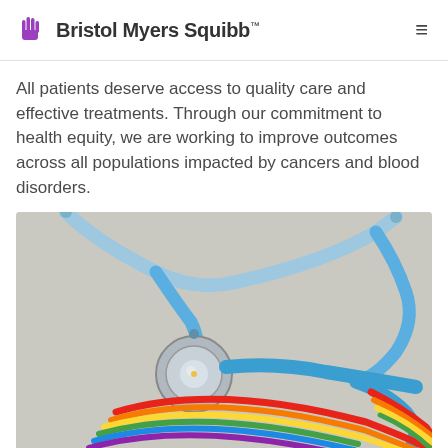Bristol Myers Squibb
All patients deserve access to quality care and effective treatments. Through our commitment to health equity, we are working to improve outcomes across all populations impacted by cancers and blood disorders.
[Figure (photo): A blue stethoscope resting on a light grey surface alongside a rainbow-colored ribbon, symbolizing LGBTQ+ inclusive healthcare.]